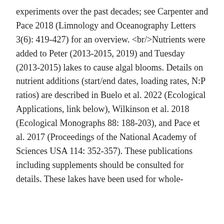experiments over the past decades; see Carpenter and Pace 2018 (Limnology and Oceanography Letters 3(6): 419-427) for an overview. <br/>Nutrients were added to Peter (2013-2015, 2019) and Tuesday (2013-2015) lakes to cause algal blooms. Details on nutrient additions (start/end dates, loading rates, N:P ratios) are described in Buelo et al. 2022 (Ecological Applications, link below), Wilkinson et al. 2018 (Ecological Monographs 88: 188-203), and Pace et al. 2017 (Proceedings of the National Academy of Sciences USA 114: 352-357). These publications including supplements should be consulted for details. These lakes have been used for whole-